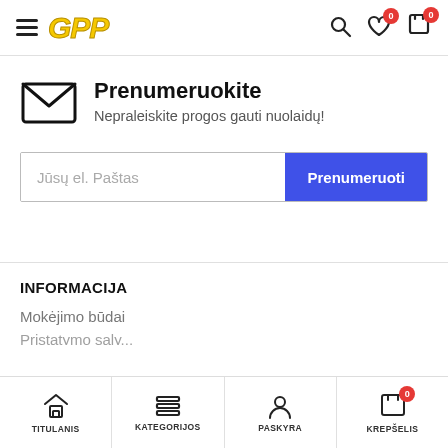GPP
Prenumeruokite
Nepraleiskite progos gauti nuolaidų!
Jūsų el. Paštas | Prenumeruoti
INFORMACIJA
Mokėjimo būdai
TITULANIS | KATEGORIJOS | PASKYRA | KREPŠELIS